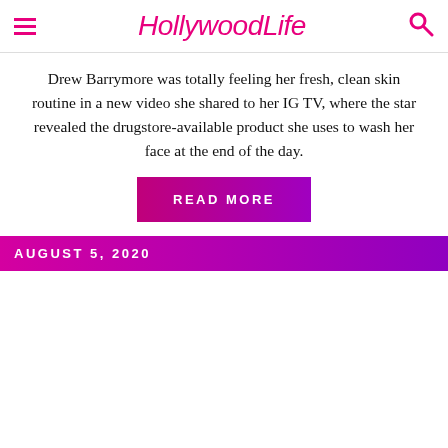HollywoodLife
Drew Barrymore was totally feeling her fresh, clean skin routine in a new video she shared to her IG TV, where the star revealed the drugstore-available product she uses to wash her face at the end of the day.
READ MORE
AUGUST 5, 2020